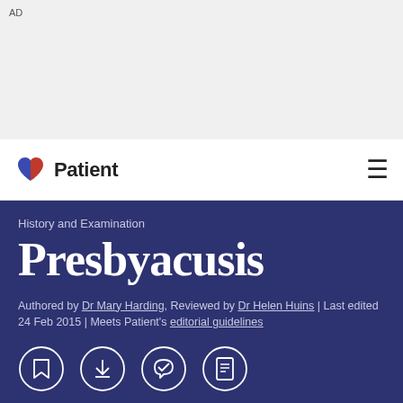AD
Patient
History and Examination
Presbyacusis
Authored by Dr Mary Harding, Reviewed by Dr Helen Huins | Last edited 24 Feb 2015 | Meets Patient's editorial guidelines
This page has been archived. It has not been updated